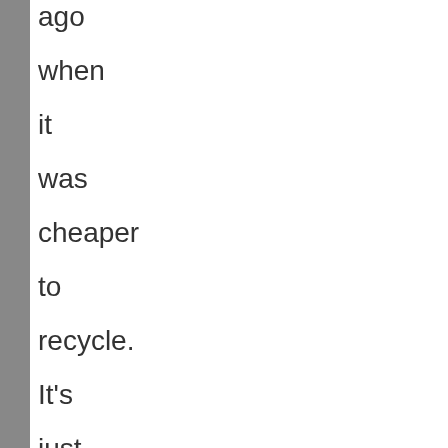ago when it was cheaper to recycle. It's just not the case anymore," said Christopher Shorter, director of public works for